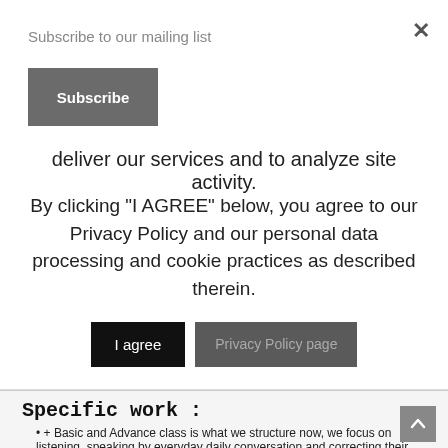Subscribe to our mailing list
Subscribe
deliver our services and to analyze site activity.
By clicking "I AGREE" below, you agree to our Privacy Policy and our personal data processing and cookie practices as described therein.
I agree
Privacy Policy page
Specific work :
+ Basic and Advance class is what we structure now, we focus on listening, speaking by everyday daily conversation and correcting their mistakes in pronunciation, vocabulary and a little grammar,